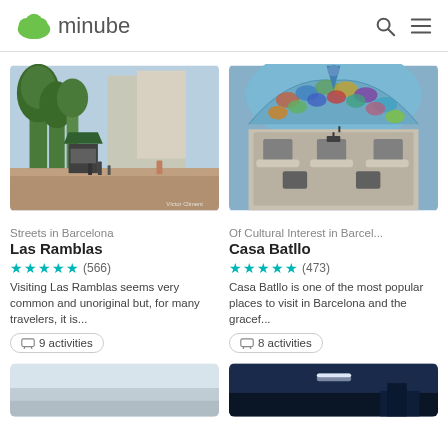minube
[Figure (photo): Photo of Las Ramblas street in Barcelona with trees and pedestrians]
Streets in Barcelona
Las Ramblas
★★★★★ (566)
Visiting Las Ramblas seems very common and unoriginal but, for many travelers, it is...
9 activities
[Figure (photo): Photo of Casa Batllo facade in Barcelona]
Of Cultural Interest in Barcel...
Casa Batllo
★★★★★ (473)
Casa Batllo is one of the most popular places to visit in Barcelona and the gracef...
8 activities
[Figure (photo): Partially visible photo at bottom left]
[Figure (photo): Partially visible photo at bottom right showing night scene]